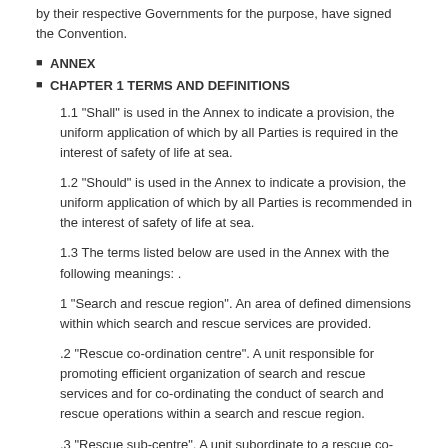by their respective Governments for the purpose, have signed the Convention.
ANNEX
CHAPTER 1 TERMS AND DEFINITIONS
1.1 "Shall" is used in the Annex to indicate a provision, the uniform application of which by all Parties is required in the interest of safety of life at sea.
1.2 "Should" is used in the Annex to indicate a provision, the uniform application of which by all Parties is recommended in the interest of safety of life at sea.
1.3 The terms listed below are used in the Annex with the following meanings: .
1 "Search and rescue region". An area of defined dimensions within which search and rescue services are provided.
.2 "Rescue co-ordination centre". A unit responsible for promoting efficient organization of search and rescue services and for co-ordinating the conduct of search and rescue operations within a search and rescue region.
.3 "Rescue sub-centre". A unit subordinate to a rescue co-ordination centre established to complement the latter within a